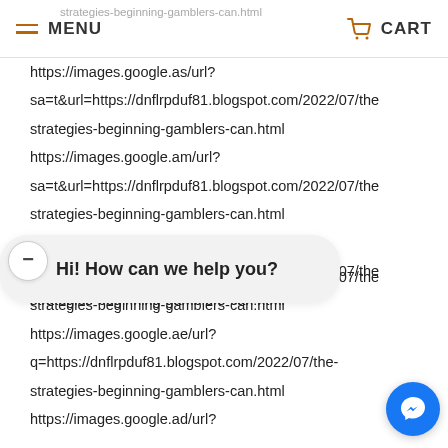MENU | CART
https://images.google.as/url?
sa=t&url=https://dnflrpduf81.blogspot.com/2022/07/the-strategies-beginning-gamblers-can.html
https://images.google.am/url?
sa=t&url=https://dnflrpduf81.blogspot.com/2022/07/the-strategies-beginning-gamblers-can.html
https://images.google.al/url?
sa=t&url=https://dnflrpduf81.blogspot.com/2022/07/the-strategies-beginning-gamblers-can.html
https://images.google.ae/url?
sa=t&url=https://dnflrpduf81.blogspot.com/2022/07/the-strategies-beginning-gamblers-can.html
https://images.google.ae/url?
q=https://dnflrpduf81.blogspot.com/2022/07/the-strategies-beginning-gamblers-can.html
https://images.google.ad/url?
Hi! How can we help you?